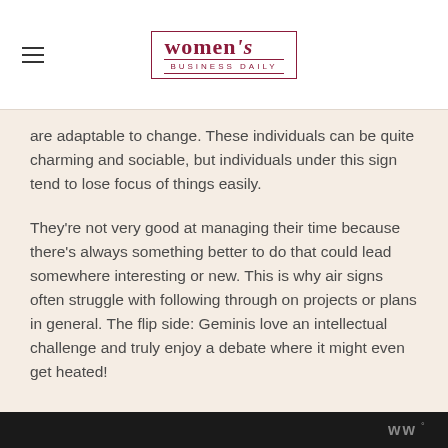women's BUSINESS DAILY
are adaptable to change. These individuals can be quite charming and sociable, but individuals under this sign tend to lose focus of things easily.
They're not very good at managing their time because there's always something better to do that could lead somewhere interesting or new. This is why air signs often struggle with following through on projects or plans in general. The flip side: Geminis love an intellectual challenge and truly enjoy a debate where it might even get heated!
ww°